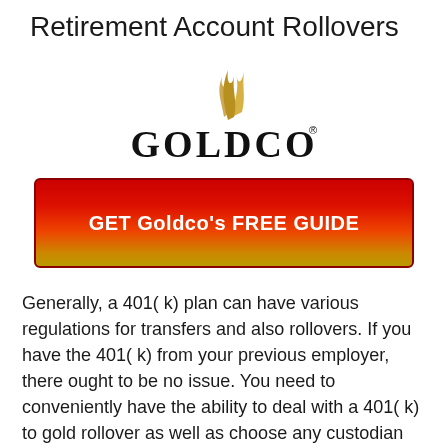Retirement Account Rollovers
[Figure (logo): Goldco logo with golden flame above stylized GOLDCO text with registered trademark symbol]
[Figure (infographic): Red to orange/gold gradient call-to-action button with text: GET Goldco's FREE GUIDE]
Generally, a 401( k) plan can have various regulations for transfers and also rollovers. If you have the 401( k) from your previous employer, there ought to be no issue. You need to conveniently have the ability to deal with a 401( k) to gold rollover as well as choose any custodian you want.